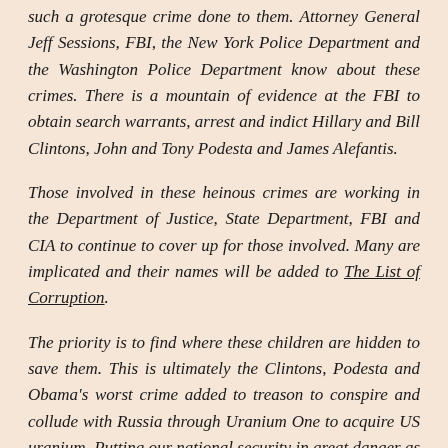such a grotesque crime done to them. Attorney General Jeff Sessions, FBI, the New York Police Department and the Washington Police Department know about these crimes. There is a mountain of evidence at the FBI to obtain search warrants, arrest and indict Hillary and Bill Clintons, John and Tony Podesta and James Alefantis.
Those involved in these heinous crimes are working in the Department of Justice, State Department, FBI and CIA to continue to cover up for those involved. Many are implicated and their names will be added to The List of Corruption.
The priority is to find where these children are hidden to save them. This is ultimately the Clintons, Podesta and Obama's worst crime added to treason to conspire and collude with Russia through Uranium One to acquire US uranium. Putting our national security in great danger as it is now very apparent to us with North Korea continuing to launch and